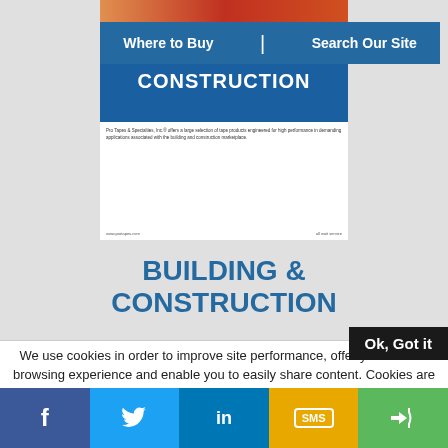Where to Buy  |  Search Our Site
[Figure (screenshot): Screenshot of a Pro Tapes & Specialties building and construction product page with blue header, CONSTRUCTION text, and product description]
BUILDING & CONSTRUCTION
We use cookies in order to improve site performance, offer you a better browsing experience and enable you to easily share content. Cookies are pieces of information stored on your computer in simple text files which our server can read and record. These files do not contain any sensitive information. By continuing to browse our site, you agree to the use of cookies.
Find out more and change your cookies parameters by